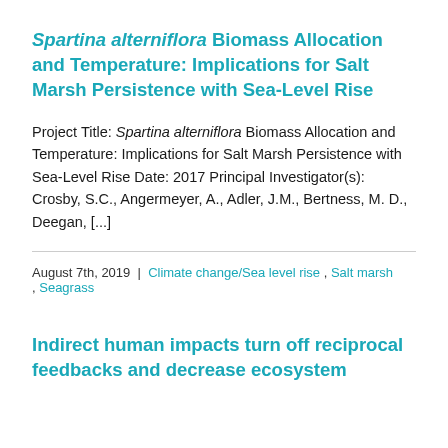Spartina alterniflora Biomass Allocation and Temperature: Implications for Salt Marsh Persistence with Sea-Level Rise
Project Title: Spartina alterniflora Biomass Allocation and Temperature: Implications for Salt Marsh Persistence with Sea-Level Rise Date: 2017 Principal Investigator(s): Crosby, S.C., Angermeyer, A., Adler, J.M., Bertness, M. D., Deegan, [...]
August 7th, 2019 | Climate change/Sea level rise , Salt marsh , Seagrass
Indirect human impacts turn off reciprocal feedbacks and decrease ecosystem